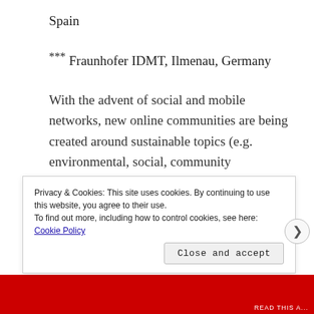Spain
*** Fraunhofer IDMT, Ilmenau, Germany
With the advent of social and mobile networks, new online communities are being created around sustainable topics (e.g. environmental, social, community development). The phenomena, known as digital social innovation, generates a positive ecosystem where business and social development enabled with new behaviors boosted by social, complementary or community currencies deployed as virtual currencies have a great potential for
Privacy & Cookies: This site uses cookies. By continuing to use this website, you agree to their use.
To find out more, including how to control cookies, see here: Cookie Policy
Close and accept